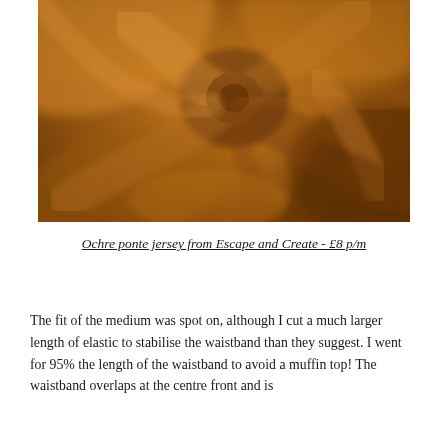[Figure (photo): Close-up photograph of ochre/golden-yellow ponte jersey fabric with swirling folds and drape, showing texture and rich warm colour.]
Ochre ponte jersey from Escape and Create - £8 p/m
The fit of the medium was spot on, although I cut a much larger length of elastic to stabilise the waistband than they suggest. I went for 95% the length of the waistband to avoid a muffin top! The waistband overlaps at the centre front and is